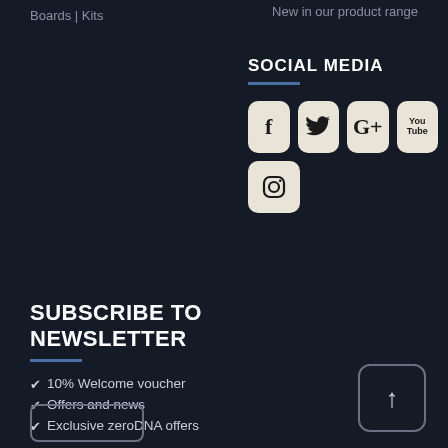Boards | Kits
New in our product range
SOCIAL MEDIA
[Figure (infographic): Social media icons for Facebook, Twitter, Google+, YouTube, and Instagram displayed as rounded square buttons on dark background]
SUBSCRIBE TO NEWSLETTER
10% Welcome voucher
Offers and news
Exclusive zeroDNA offers